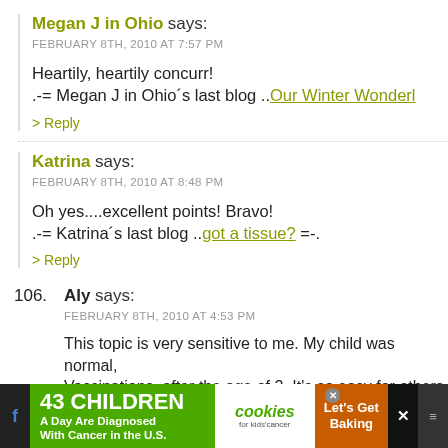Megan J in Ohio says:
FEBRUARY 8TH, 2010 AT 7:57 PM

Heartily, heartily concurr!
.-= Megan J in Ohio´s last blog ..Our Winter Wonder
> Reply
Katrina says:
FEBRUARY 8TH, 2010 AT 8:48 PM

Oh yes....excellent points! Bravo!
.-= Katrina´s last blog ..got a tissue? =-.
> Reply
106. Aly says:
FEBRUARY 8TH, 2010 AT 4:53 PM

This topic is very sensitive to me. My child was normal,
Vaccinations, after the age of 3. It's so easy for others to
[Figure (screenshot): Advertisement banner: '43 CHILDREN A Day Are Diagnosed With Cancer in the U.S.' with cookies for kids cancer and Let's Get Baking logos]